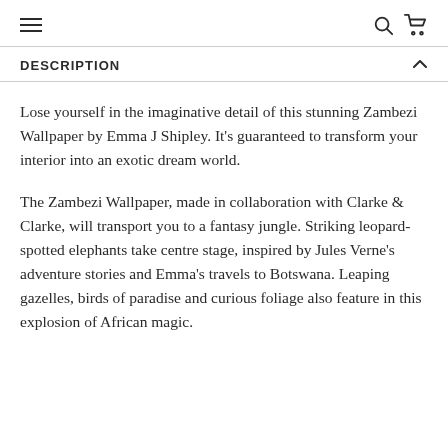≡  Q 🛒
DESCRIPTION
Lose yourself in the imaginative detail of this stunning Zambezi Wallpaper by Emma J Shipley. It's guaranteed to transform your interior into an exotic dream world.
The Zambezi Wallpaper, made in collaboration with Clarke & Clarke, will transport you to a fantasy jungle. Striking leopard-spotted elephants take centre stage, inspired by Jules Verne's adventure stories and Emma's travels to Botswana. Leaping gazelles, birds of paradise and curious foliage also feature in this explosion of African magic.